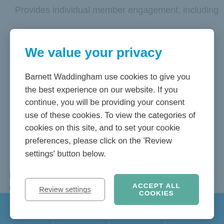Provides individual member engagement, including
We value your privacy
Barnett Waddingham use cookies to give you the best experience on our website. If you continue, you will be providing your consent use of these cookies. To view the categories of cookies on this site, and to set your cookie preferences, please click on the 'Review settings' button below.
Review settings
ACCEPT ALL COOKIES
Katy has advised independent schools in considering their options relating to ongoing membership of the Teacher's
[Figure (other): Social media footer bar with LinkedIn, Twitter, Facebook, and email/share icons on a blue background]